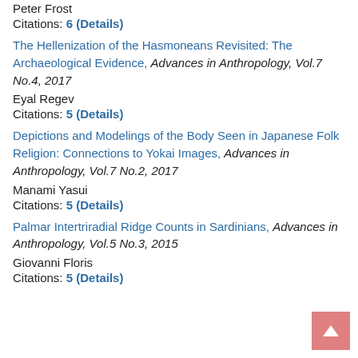Peter Frost
Citations: 6 (Details)
The Hellenization of the Hasmoneans Revisited: The Archaeological Evidence, Advances in Anthropology, Vol.7 No.4, 2017
Eyal Regev
Citations: 5 (Details)
Depictions and Modelings of the Body Seen in Japanese Folk Religion: Connections to Yokai Images, Advances in Anthropology, Vol.7 No.2, 2017
Manami Yasui
Citations: 5 (Details)
Palmar Intertriradial Ridge Counts in Sardinians, Advances in Anthropology, Vol.5 No.3, 2015
Giovanni Floris
Citations: 5 (Details)